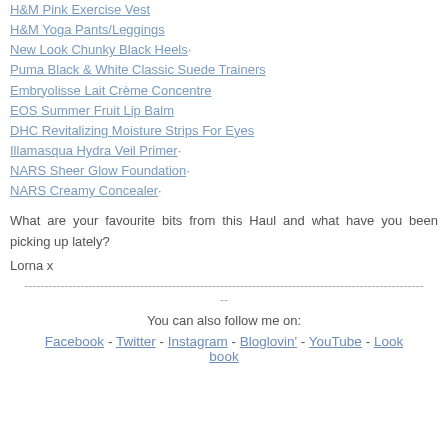H&M Pink Exercise Vest
H&M Yoga Pants/Leggings
New Look Chunky Black Heels·
Puma Black & White Classic Suede Trainers
Embryolisse Lait Crème Concentre
EOS Summer Fruit Lip Balm
DHC Revitalizing Moisture Strips For Eyes
Illamasqua Hydra Veil Primer·
NARS Sheer Glow Foundation·
NARS Creamy Concealer·
What are your favourite bits from this Haul and what have you been picking up lately?
Lorna x
----------------------------------------------------------------------------------------------------  --
You can also follow me on:
Facebook - Twitter - Instagram - Bloglovin' - YouTube - Lookbook